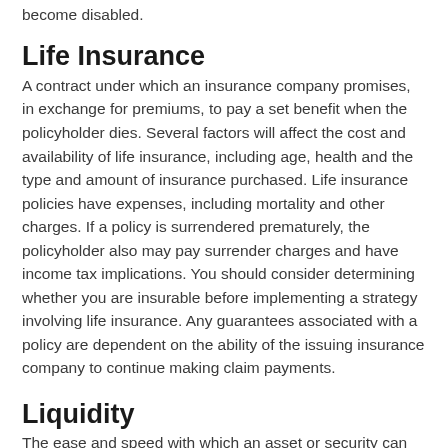become disabled.
Life Insurance
A contract under which an insurance company promises, in exchange for premiums, to pay a set benefit when the policyholder dies. Several factors will affect the cost and availability of life insurance, including age, health and the type and amount of insurance purchased. Life insurance policies have expenses, including mortality and other charges. If a policy is surrendered prematurely, the policyholder also may pay surrender charges and have income tax implications. You should consider determining whether you are insurable before implementing a strategy involving life insurance. Any guarantees associated with a policy are dependent on the ability of the issuing insurance company to continue making claim payments.
Liquidity
The ease and speed with which an asset or security can